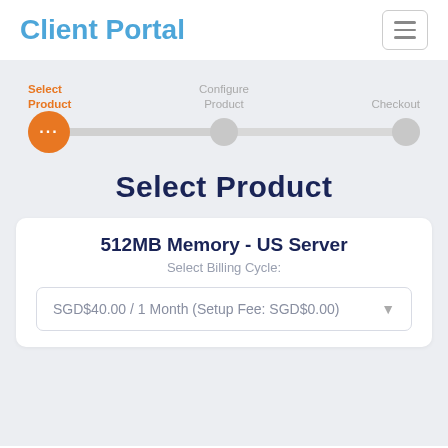Client Portal
[Figure (screenshot): Progress stepper with three steps: Select Product (active/orange), Configure Product, Checkout. Orange circle with three dots at first step, grey circles at second and third steps.]
Select Product
512MB Memory - US Server
Select Billing Cycle:
SGD$40.00 / 1 Month (Setup Fee: SGD$0.00)